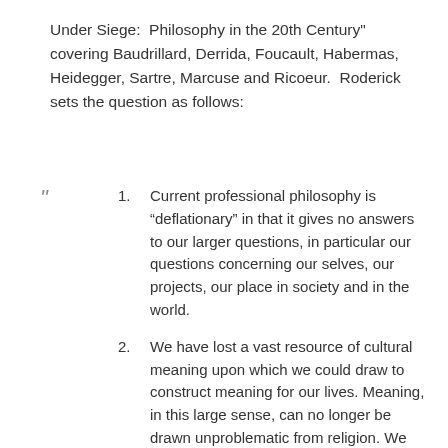Under Siege:  Philosophy in the 20th Century" covering Baudrillard, Derrida, Foucault, Habermas, Heidegger, Sartre, Marcuse and Ricoeur.  Roderick sets the question as follows:
1. Current professional philosophy is “deflationary” in that it gives no answers to our larger questions, in particular our questions concerning our selves, our projects, our place in society and in the world.
2. We have lost a vast resource of cultural meaning upon which we could draw to construct meaning for our lives. Meaning, in this large sense, can no longer be drawn unproblematic from religion. We have information, but not